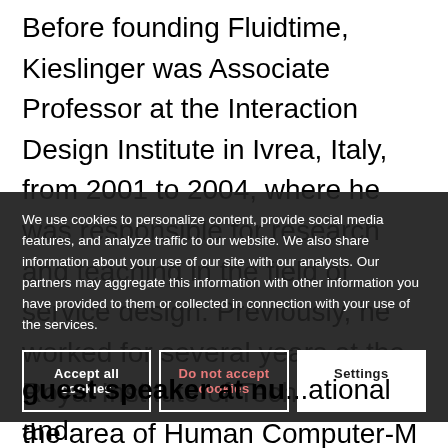Before founding Fluidtime, Kieslinger was Associate Professor at the Interaction Design Institute in Ivrea, Italy, from 2001 to 2004, where he was responsible for research and teaching in the field of service design. Previously, he worked for several years at the Royal Institute of Technology in the area of Human Computer-M... ex... r...
We use cookies to personalize content, provide social media features, and analyze traffic to our website. We also share information about your use of our site with our analysts. Our partners may aggregate this information with other information you have provided to them or collected in connection with your use of the services.
guest speaker at nu...ational and ...on... design at the Royal College of Art in London and